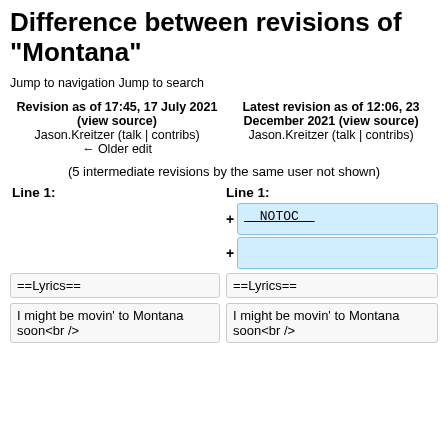Difference between revisions of "Montana"
Jump to navigation Jump to search
| Revision as of 17:45, 17 July 2021 (view source) | Latest revision as of 12:06, 23 December 2021 (view source) |
| --- | --- |
| Jason.Kreitzer (talk | contribs)
← Older edit | Jason.Kreitzer (talk | contribs) |
(5 intermediate revisions by the same user not shown)
Line 1:
Line 1:
+ __NOTOC__
+
==Lyrics==
==Lyrics==
I might be movin' to Montana soon<br />
I might be movin' to Montana soon<br />